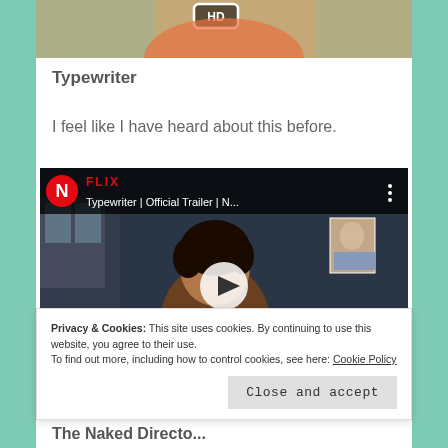[Figure (screenshot): Cropped top portion of a video thumbnail with HD badge visible, person in orange shirt]
Typewriter
I feel like I have heard about this before.
[Figure (screenshot): Embedded YouTube/Netflix video player showing Typewriter Official Trailer with Netflix logo, play button, and OFFICIAL text at bottom. Shows a young man with curly hair.]
Privacy & Cookies: This site uses cookies. By continuing to use this website, you agree to their use.
To find out more, including how to control cookies, see here: Cookie Policy
Close and accept
The Naked Directo...